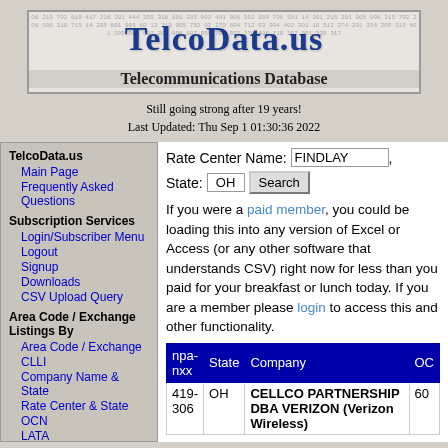[Figure (logo): TelcoData.us banner with number background, bold blue title and 'Telecommunications Database' subtitle]
Still going strong after 19 years!
Last Updated: Thu Sep 1 01:30:36 2022
TelcoData.us
Main Page
Frequently Asked Questions
Subscription Services
Login/Subscriber Menu
Logout
Signup
Downloads
CSV Upload Query
Area Code / Exchange Listings By
Area Code / Exchange
CLLI
Company Name & State
Rate Center & State
OCN
LATA
Switch Listings By
Rate Center Name: FINDLAY, State: OH Search
If you were a paid member, you could be loading this into any version of Excel or Access (or any other software that understands CSV) right now for less than you paid for your breakfast or lunch today. If you are a member please login to access this and other functionality.
| npa-nxx | State | Company | OC |
| --- | --- | --- | --- |
| 419-306 | OH | CELLCO PARTNERSHIP DBA VERIZON (Verizon Wireless) | 60 |